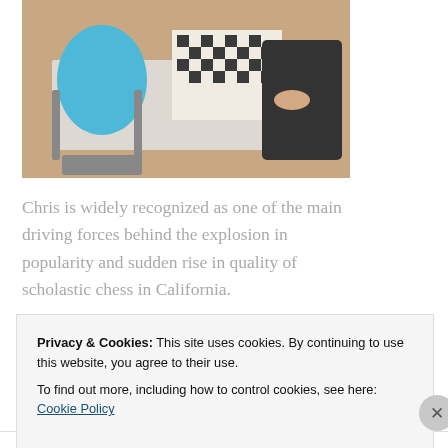[Figure (photo): Photo of children playing chess at a table, viewed from above, with a chess board visible]
Chris is widely recognized as one of the main driving forces behind the explosion in popularity and sudden rise in quality of scholastic chess in California.
[Figure (screenshot): WordPress advertisement banner reading 'WordPress in the back.' on a peach/orange background with pink and purple design elements]
Privacy & Cookies: This site uses cookies. By continuing to use this website, you agree to their use.
To find out more, including how to control cookies, see here: Cookie Policy